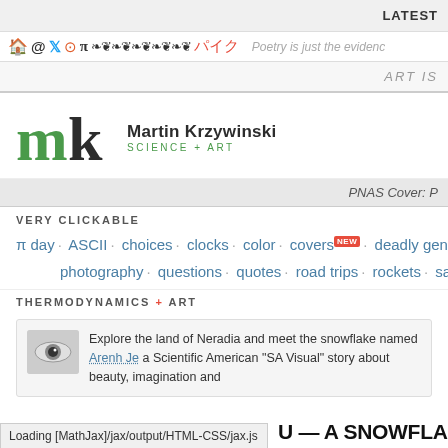LATEST
🏠 @ 🐦 📷 π ❧❦❧❦ パイク  Poetry is just the evidence
ART IS
[Figure (logo): Martin Krzywinski Science + Art logo with green m and black k]
PNAS Cover: P
VERY CLICKABLE
π day · ASCII · choices · clocks · color · covers NEW · deadly genomes NEW ·
photography · questions · quotes · road trips · rockets · satire · sky
THERMODYNAMICS + ART
Explore the land of Neradia and meet the snowflake named Arenh Je a Scientific American "SA Visual" story about beauty, imagination and
Loading [MathJax]/jax/output/HTML-CSS/jax.js
U — A SNOWFLAKE CATA